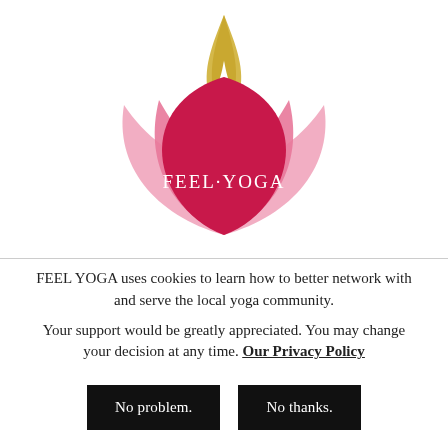[Figure (logo): Feel Yoga lotus flower logo with pink petals and golden flame, text FEEL·YOGA in white on dark pink petal]
FEEL YOGA uses cookies to learn how to better network with and serve the local yoga community. Your support would be greatly appreciated. You may change your decision at any time. Our Privacy Policy
No problem.
No thanks.